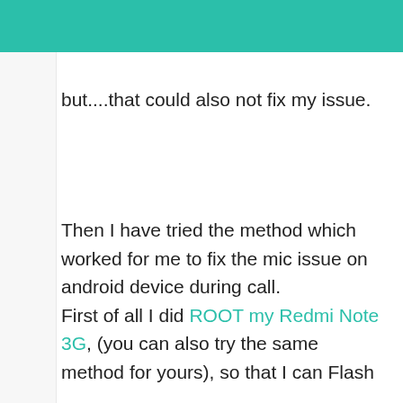but....that could also not fix my issue.
Then I have tried the method which worked for me to fix the mic issue on android device during call. First of all I did ROOT my Redmi Note 3G, (you can also try the same method for yours), so that I can Flash
[Figure (screenshot): Advertisement banner: Business Cloud Storage SW with See More button]